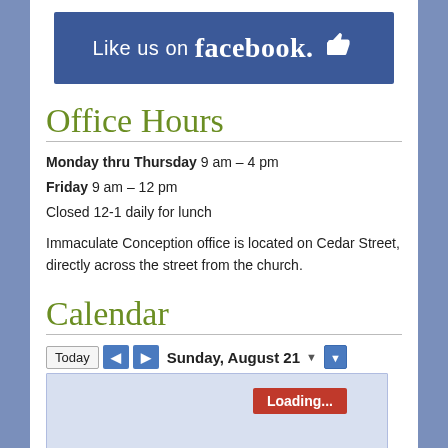[Figure (logo): Facebook 'Like us on facebook' banner with thumbs up icon on blue background]
Office Hours
Monday thru Thursday 9 am – 4 pm
Friday 9 am – 12 pm
Closed 12-1 daily for lunch
Immaculate Conception office is located on Cedar Street, directly across the street from the church.
Calendar
[Figure (screenshot): Calendar widget showing Sunday, August 21 with navigation buttons (Today, back, forward), a date dropdown, and a Loading... indicator in red on a light blue calendar body]